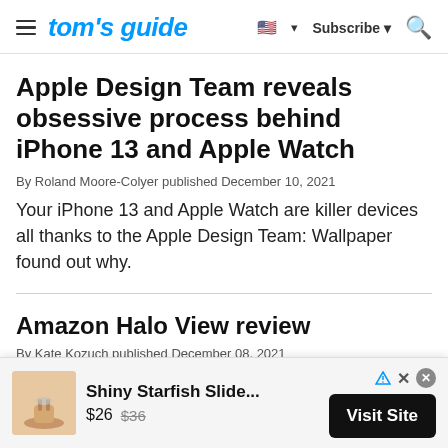tom's guide — Subscribe — Search
Apple Design Team reveals obsessive process behind iPhone 13 and Apple Watch
By Roland Moore-Colyer published December 10, 2021
Your iPhone 13 and Apple Watch are killer devices all thanks to the Apple Design Team: Wallpaper found out why.
Amazon Halo View review
By Kate Kozuch published December 08, 2021
[Figure (other): Advertisement banner with image of Shiny Starfish Slide sandals, showing price $26 (was $36) and a 'Visit Site' button]